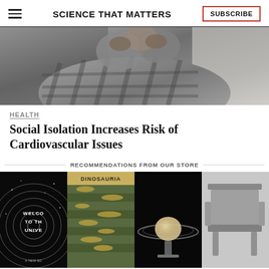SCIENCE THAT MATTERS | SUBSCRIBE
[Figure (photo): Person in plaid shirt holding their head in their hands, stressed or in pain, with blurred background]
HEALTH
Social Isolation Increases Risk of Cardiovascular Issues
RECOMMENDATIONS FROM OUR STORE
[Figure (photo): Store recommendation images: Welcome to the Universe book, Dinosauria poster, Saturn lamp, and a gray chair/product]